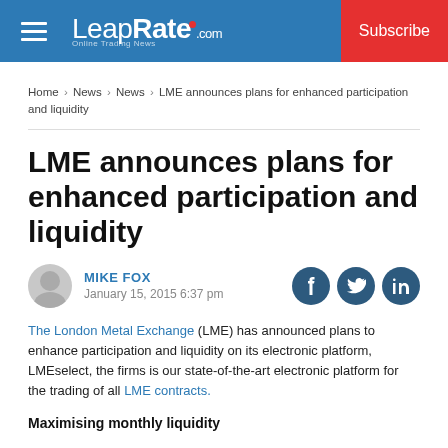LeapRate.com | Subscribe
Home › News › News › LME announces plans for enhanced participation and liquidity
LME announces plans for enhanced participation and liquidity
MIKE FOX
January 15, 2015 6:37 pm
The London Metal Exchange (LME) has announced plans to enhance participation and liquidity on its electronic platform, LMEselect, the firms is our state-of-the-art electronic platform for the trading of all LME contracts.
Maximising monthly liquidity